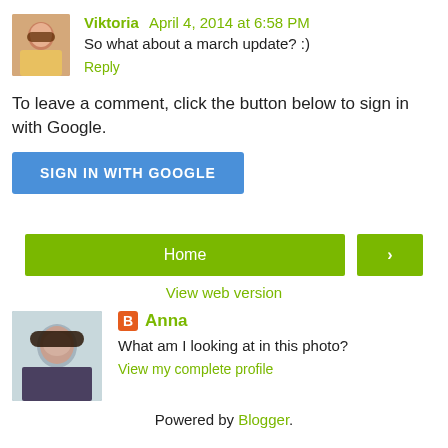[Figure (photo): Small avatar photo of Viktoria, a woman with dark hair]
Viktoria April 4, 2014 at 6:58 PM
So what about a march update? :)
Reply
To leave a comment, click the button below to sign in with Google.
SIGN IN WITH GOOGLE
Home
>
View web version
[Figure (photo): Profile photo of Anna, a woman with dark hair]
Anna
What am I looking at in this photo?
View my complete profile
Powered by Blogger.